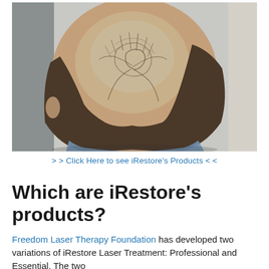[Figure (photo): Top-down view of a man's head showing significant hair thinning and male pattern baldness on the crown]
> > Click Here to see iRestore’s Products < <
Which are iRestore’s products?
Freedom Laser Therapy Foundation has developed two variations of iRestore Laser Treatment: Professional and Essential. The two